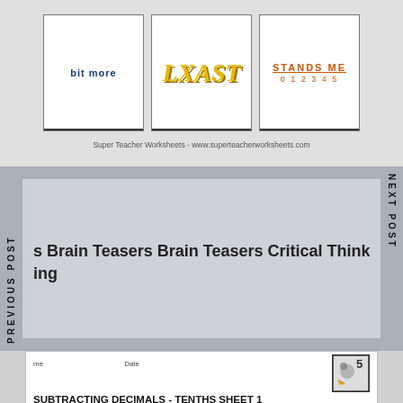[Figure (illustration): Three educational worksheet cards: first card shows 'bit more' in blue bold text; second card shows 'LXAST' in large yellow bold italic text; third card shows 'STANDS ME' in orange with numbers 0 1 2 3 4 5 below]
Super Teacher Worksheets - www.superteacherworksheets.com
s Brain Teasers Brain Teasers Critical Thinking Skills C
ing
PREVIOUS POST
NEXT POST
me    Date
SUBTRACTING DECIMALS - TENTHS SHEET 1
Have a look at these number machines and use your decimal knowledge to fill in the missing numbers. Remember 10 tenths = 1 one (or 1 whole).
1) - 0.2
0.8 → 0.6
1 → 0.8
1.5 →
2) - 0.4
0.8 → 0.4
1 →
1.5 →
3) - 0.5
0.8 → 0.3
1 →
1.5 →